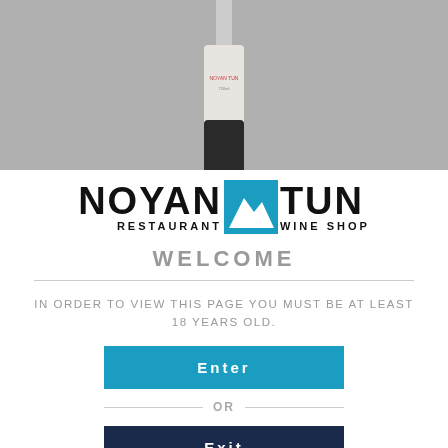[Figure (photo): Photo banner showing a wine bottle (dark body, light label) on a gray background, cropped to show upper portion of bottle.]
[Figure (logo): Noyan Tun Restaurant & Wine Shop logo. Bold black text 'NOYAN' and 'TUN' flanking a blue square icon with white mountain silhouette. Below: 'RESTAURANT' and 'WINE SHOP' in small caps.]
WELCOME
IN ORDER TO VIEW THIS PAGE YOU MUST BE AT LEAST 18 YEARS OLD.
Enter
OR
Exit